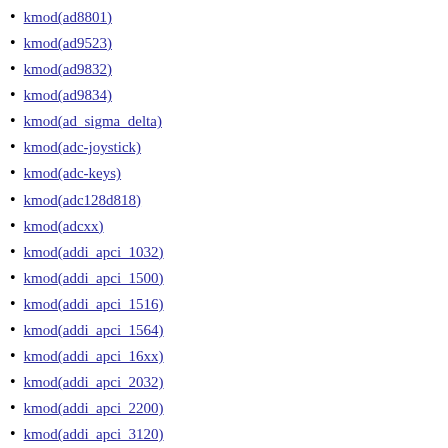kmod(ad8801)
kmod(ad9523)
kmod(ad9832)
kmod(ad9834)
kmod(ad_sigma_delta)
kmod(adc-joystick)
kmod(adc-keys)
kmod(adc128d818)
kmod(adcxx)
kmod(addi_apci_1032)
kmod(addi_apci_1500)
kmod(addi_apci_1516)
kmod(addi_apci_1564)
kmod(addi_apci_16xx)
kmod(addi_apci_2032)
kmod(addi_apci_2200)
kmod(addi_apci_3120)
kmod(addi_apci_3501)
kmod(addi_apci_3xxx)
kmod(addi_watchdog)
kmod(ade7854)
kmod(ade7854-i2c)
kmod(ade7854-spi)
kmod(adf4350)
kmod(adf4371)